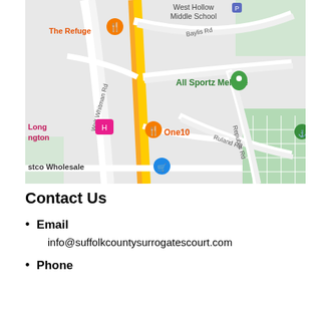[Figure (map): Google Maps screenshot showing Melville, NY area with landmarks including West Hollow Middle School, The Refuge restaurant, All Sportz Melville (marked with green pin), One10 restaurant, Pinelawn Memorial Pk & Cemetery, Costco Wholesale, and roads including Baylis Rd, Walt Whitman Rd, Ruland Rd, and Republic Rd.]
Contact Us
Email
info@suffolkcountysurrogatescourt.com
Phone